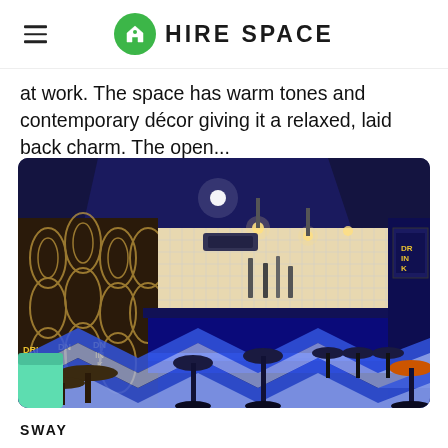HIRE SPACE
at work. The space has warm tones and contemporary décor giving it a relaxed, laid back charm. The open...
[Figure (photo): Interior of Sway venue showing a blue-lit bar with chevron patterned floor, bar stools, decorative wallpaper, and pendant lights above the bar counter.]
SWAY